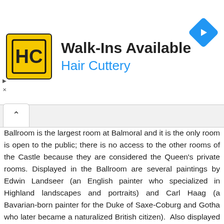[Figure (logo): Hair Cuttery advertisement banner with HC logo, text 'Walk-Ins Available' and 'Hair Cuttery', and a blue navigation diamond icon]
Ballroom is the largest room at Balmoral and it is the only room is open to the public; there is no access to the other rooms of the Castle because they are considered the Queen's private rooms. Displayed in the Ballroom are several paintings by Edwin Landseer (an English painter who specialized in Highland landscapes and portraits) and Carl Haag (a Bavarian-born painter for the Duke of Saxe-Coburg and Gotha who later became a naturalized British citizen). Also displayed in the Ballroom are silver statues by John Boehm and several pieces of Minton China (the famous bone china produced in Staffordshire, England)
The Ballroom is probably most famously known as the setting for the annual Ghillie Ball, Queen Victoria started the tradition in 1852 when she wanted to thank her servants and other members of her staff for their good service. The ball is a much anticipated event for everyone at Balmoral because of opportunity for the servants